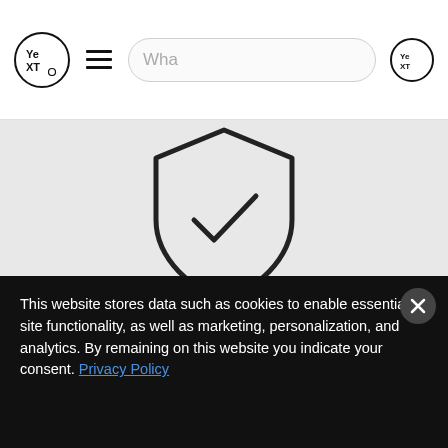[Figure (screenshot): Yext website header with logo, hamburger menu, search bar with 'Wha' placeholder text, and Yext icon button on the right]
[Figure (illustration): Shield icon with a checkmark inside, on a light gray background]
Protect Your Brand Image
This website stores data such as cookies to enable essential site functionality, as well as marketing, personalization, and analytics. By remaining on this website you indicate your consent. Privacy Policy